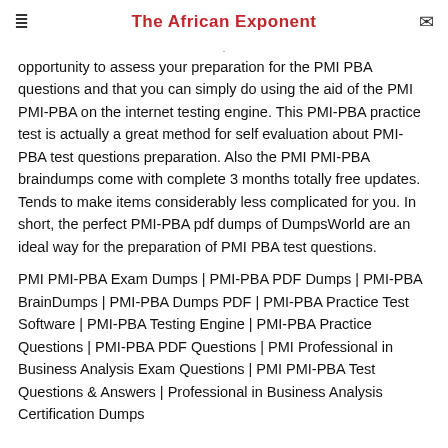The African Exponent
opportunity to assess your preparation for the PMI PBA questions and that you can simply do using the aid of the PMI PMI-PBA on the internet testing engine. This PMI-PBA practice test is actually a great method for self evaluation about PMI-PBA test questions preparation. Also the PMI PMI-PBA braindumps come with complete 3 months totally free updates. Tends to make items considerably less complicated for you. In short, the perfect PMI-PBA pdf dumps of DumpsWorld are an ideal way for the preparation of PMI PBA test questions.
PMI PMI-PBA Exam Dumps | PMI-PBA PDF Dumps | PMI-PBA BrainDumps | PMI-PBA Dumps PDF | PMI-PBA Practice Test Software | PMI-PBA Testing Engine | PMI-PBA Practice Questions | PMI-PBA PDF Questions | PMI Professional in Business Analysis Exam Questions | PMI PMI-PBA Test Questions & Answers | Professional in Business Analysis Certification Dumps